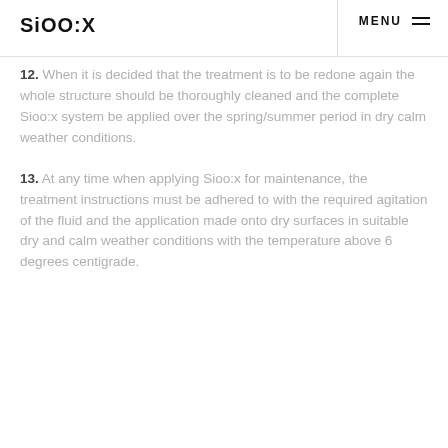SiOO:X  MENU
12. When it is decided that the treatment is to be redone again the whole structure should be thoroughly cleaned and the complete Sioo:x system be applied over the spring/summer period in dry calm weather conditions.
13. At any time when applying Sioo:x for maintenance, the treatment instructions must be adhered to with the required agitation of the fluid and the application made onto dry surfaces in suitable dry and calm weather conditions with the temperature above 6 degrees centigrade.